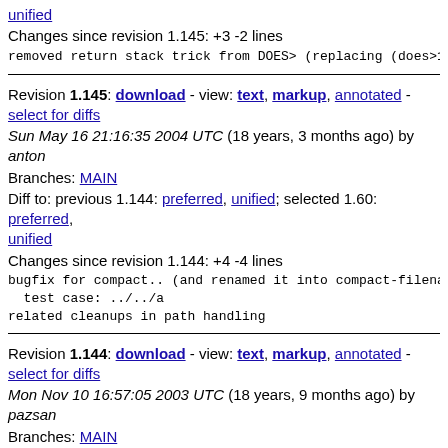unified
Changes since revision 1.145: +3 -2 lines
removed return stack trick from DOES> (replacing (does>1)
Revision 1.145: download - view: text, markup, annotated - select for diffs
Sun May 16 21:16:35 2004 UTC (18 years, 3 months ago) by anton
Branches: MAIN
Diff to: previous 1.144: preferred, unified; selected 1.60: preferred, unified
Changes since revision 1.144: +4 -4 lines
bugfix for compact.. (and renamed it into compact-filenam
  test case: ../../a
related cleanups in path handling
Revision 1.144: download - view: text, markup, annotated - select for diffs
Mon Nov 10 16:57:05 2003 UTC (18 years, 9 months ago) by pazsan
Branches: MAIN
Diff to: previous 1.143: preferred, unified; selected 1.60: preferred, unified
Changes since revision 1.143: +3 -3 lines